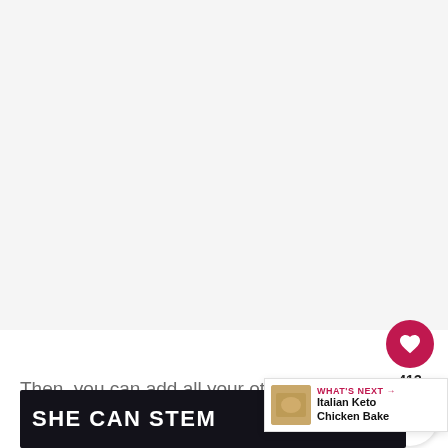[Figure (photo): Large pale/white image area at top of page, appears to be a food photo (tortellini pasta salad) mostly cropped out]
Then, you can add all your other ingredients to the bowl and toss about. Serve this Italian Tortellini Pasta Salad warm or cold. You can make a
[Figure (infographic): WHAT'S NEXT promo widget showing Italian Keto Chicken Bake with a food thumbnail image]
[Figure (screenshot): SHE CAN STEM advertisement banner with dark background]